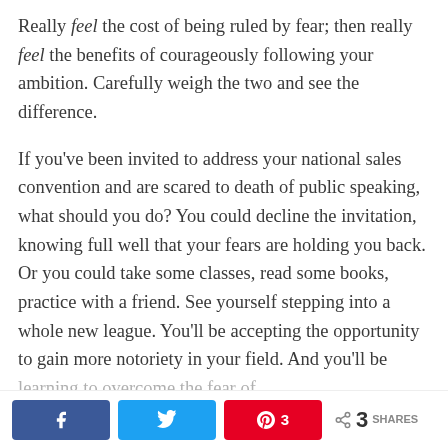Really feel the cost of being ruled by fear; then really feel the benefits of courageously following your ambition. Carefully weigh the two and see the difference.

If you've been invited to address your national sales convention and are scared to death of public speaking, what should you do? You could decline the invitation, knowing full well that your fears are holding you back. Or you could take some classes, read some books, practice with a friend. See yourself stepping into a whole new league. You'll be accepting the opportunity to gain more notoriety in your field. And you'll be [cut off]
Share buttons: Facebook, Twitter, Pinterest (3 saves), Share count: 3 SHARES